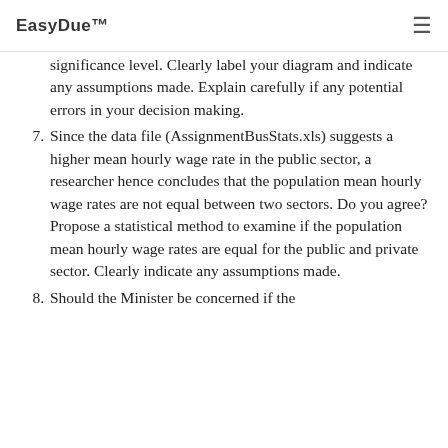EasyDue™
significance level. Clearly label your diagram and indicate any assumptions made. Explain carefully if any potential errors in your decision making.
7. Since the data file (AssignmentBusStats.xls) suggests a higher mean hourly wage rate in the public sector, a researcher hence concludes that the population mean hourly wage rates are not equal between two sectors. Do you agree? Propose a statistical method to examine if the population mean hourly wage rates are equal for the public and private sector. Clearly indicate any assumptions made.
8. Should the Minister be concerned if the